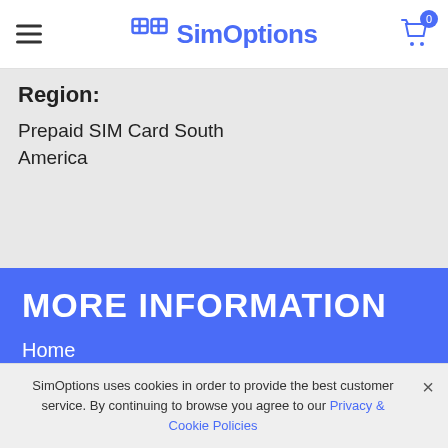SimOptions
Region: Prepaid SIM Card South America
MORE INFORMATION
Home
Delivery Options
FAQ's
Blog
Reviews
Contact Us
SimOptions uses cookies in order to provide the best customer service. By continuing to browse you agree to our Privacy & Cookie Policies